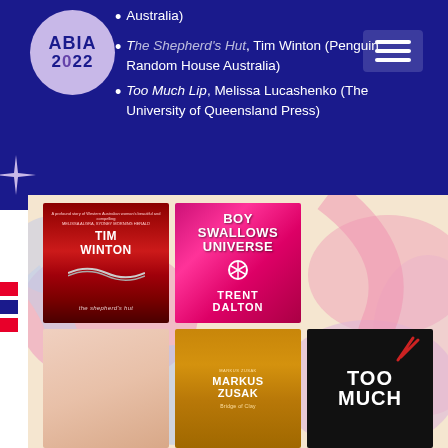[Figure (logo): ABIA 2022 circular logo in light purple on dark navy background]
Australia)
The Shepherd's Hut, Tim Winton (Penguin Random House Australia)
Too Much Lip, Melissa Lucashenko (The University of Queensland Press)
[Figure (photo): Grid of book covers including: The Shepherd's Hut by Tim Winton, Boy Swallows Universe by Trent Dalton, a partial pink/peach cover, a book by Markus Zusak (Bridge of Clay), and Too Much (Lip) black cover. Displayed on a colorful illustrated background with pastel pink, blue, and peach abstract shapes.]